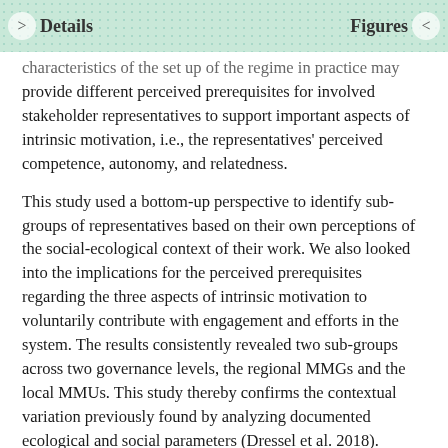Details   Figures
characteristics of the set up of the regime in practice may provide different perceived prerequisites for involved stakeholder representatives to support important aspects of intrinsic motivation, i.e., the representatives' perceived competence, autonomy, and relatedness.
This study used a bottom-up perspective to identify sub-groups of representatives based on their own perceptions of the social-ecological context of their work. We also looked into the implications for the perceived prerequisites regarding the three aspects of intrinsic motivation to voluntarily contribute with engagement and efforts in the system. The results consistently revealed two sub-groups across two governance levels, the regional MMGs and the local MMUs. This study thereby confirms the contextual variation previously found by analyzing documented ecological and social parameters (Dressel et al. 2018).
Important distinctions were shown between these sub-groups